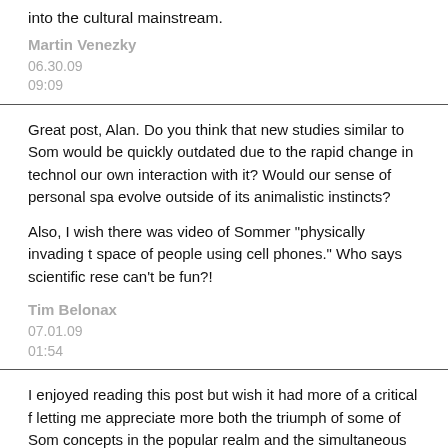into the cultural mainstream.
Martin Venezky
06.30.09
09:09
Great post, Alan. Do you think that new studies similar to Sommer's would be quickly outdated due to the rapid change in technology and our own interaction with it? Would our sense of personal space evolve outside of its animalistic instincts?

Also, I wish there was video of Sommer "physically invading the space of people using cell phones." Who says scientific research can't be fun?!
Tim Belonax
07.01.09
01:54
I enjoyed reading this post but wish it had more of a critical framing letting me appreciate more both the triumph of some of Sommer's concepts in the popular realm and the simultaneous lack of influence in much of his work today. Some thoughts towards framing this...